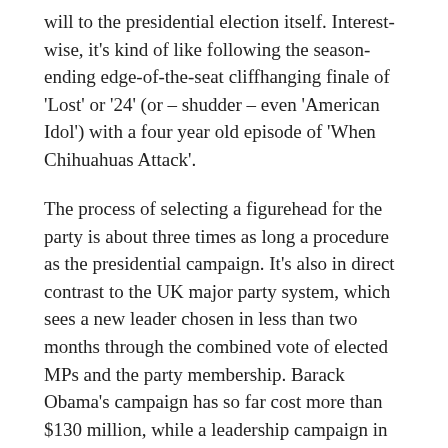will to the presidential election itself. Interest-wise, it's kind of like following the season-ending edge-of-the-seat cliffhanging finale of 'Lost' or '24' (or – shudder – even 'American Idol') with a four year old episode of 'When Chihuahuas Attack'.
The process of selecting a figurehead for the party is about three times as long a procedure as the presidential campaign. It's also in direct contrast to the UK major party system, which sees a new leader chosen in less than two months through the combined vote of elected MPs and the party membership. Barack Obama's campaign has so far cost more than $130 million, while a leadership campaign in the UK generally costs less than $500,000. I appreciate that this country's bigger, and the system's different, but nothing has to stay the same forever folks. As I believe somebody may have said, it's time for change.
Interestingly, the Obama campaign spent $738 on bagels from Einstein Bros, while the Clinton campaign laid down a